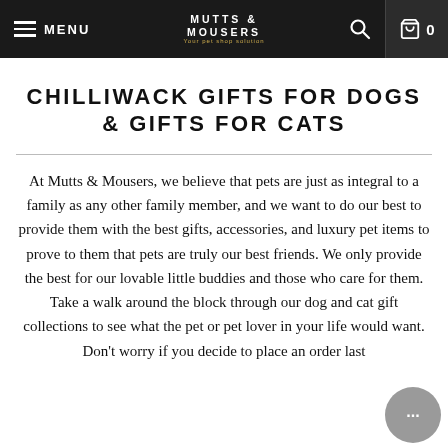MENU | MUTTS & MOUSERS | Search | Cart 0
CHILLIWACK GIFTS FOR DOGS & GIFTS FOR CATS
At Mutts & Mousers, we believe that pets are just as integral to a family as any other family member, and we want to do our best to provide them with the best gifts, accessories, and luxury pet items to prove to them that pets are truly our best friends. We only provide the best for our lovable little buddies and those who care for them. Take a walk around the block through our dog and cat gift collections to see what the pet or pet lover in your life would want. Don't worry if you decide to place an order last